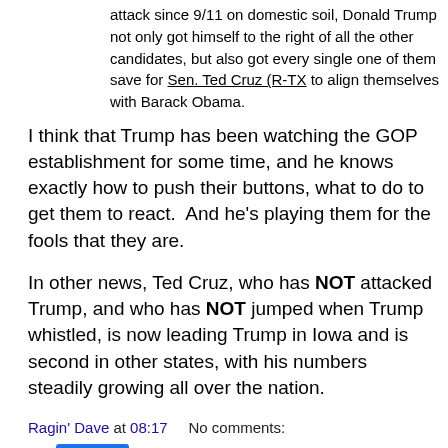attack since 9/11 on domestic soil, Donald Trump not only got himself to the right of all the other candidates, but also got every single one of them save for Sen. Ted Cruz (R-TX to align themselves with Barack Obama.
I think that Trump has been watching the GOP establishment for some time, and he knows exactly how to push their buttons, what to do to get them to react.  And he's playing them for the fools that they are.
In other news, Ted Cruz, who has NOT attacked Trump, and who has NOT jumped when Trump whistled, is now leading Trump in Iowa and is second in other states, with his numbers steadily growing all over the nation.
Ragin' Dave at 08:17    No comments:
Share
Monday, December 07, 2015
Who needs oil anymore?